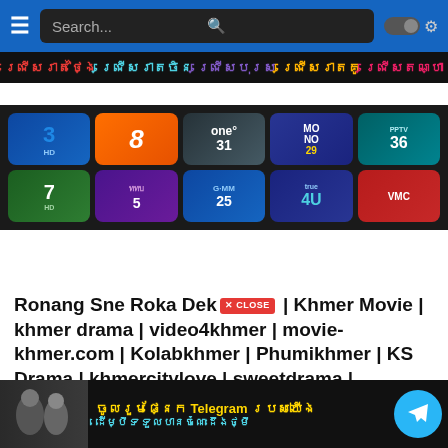Search...
ជ្រើសរាត់ថ្ងៃ | ជ្រើសរាតចិន | ជ្រើសបុរស | ជ្រើសរាតគូ | ជ្រើសតណ្ហា
[Figure (screenshot): Channel logos grid: TV3HD, TV8, One31, MONO29, PPTV36, TV7HD, Thai TV5, GMM25, True4U, VMC]
Ronang Sne Roka Dek × CLOSE | Khmer Movie | khmer drama | video4khmer | movie-khmer.com | Kolabkhmer | Phumikhmer | KS Drama | khmercitylove | sweetdrama | khreplay Best
Released on October 7, 2021 · 254 Views · Posted by admin · Series Ronang Sne Roka Dek | Khmer Movie | khmer drama | video4khmer | movie-khmer.com | Kolabkhmer | Phumikhmer | KS Drama | khmercitylove | sweetdrama | khreplay Best
[Figure (infographic): Bottom banner with Khmer text about Telegram channel and Telegram icon]